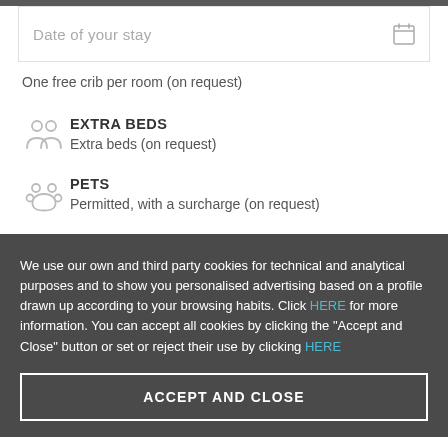[Figure (other): Date of your stay input field with calendar icon]
One free crib per room (on request)
EXTRA BEDS
Extra beds (on request)
PETS
Permitted, with a surcharge (on request)
We use our own and third party cookies for technical and analytical purposes and to show you personalised advertising based on a profile drawn up according to your browsing habits. Click HERE for more information. You can accept all cookies by clicking the "Accept and Close" button or set or reject their use by clicking HERE
ACCEPT AND CLOSE